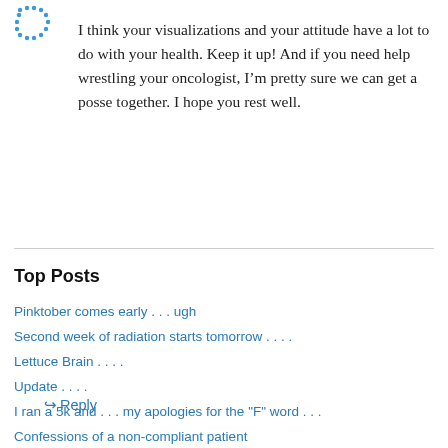[Figure (logo): Blue dotted circular avatar/user icon in top left corner]
I think your visualizations and your attitude have a lot to do with your health. Keep it up! And if you need help wrestling your oncologist, I'm pretty sure we can get a posse together. I hope you rest well.
↳ Reply
Top Posts
Pinktober comes early . . . ugh
Second week of radiation starts tomorrow . . . .
Lettuce Brain . . . .
Update . . . .
I ran a 5k and . . . my apologies for the "F" word . . .
Confessions of a non-compliant patient